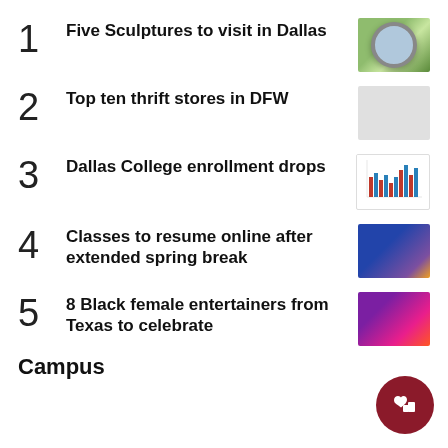1 Five Sculptures to visit in Dallas
2 Top ten thrift stores in DFW
3 Dallas College enrollment drops
4 Classes to resume online after extended spring break
5 8 Black female entertainers from Texas to celebrate
Campus